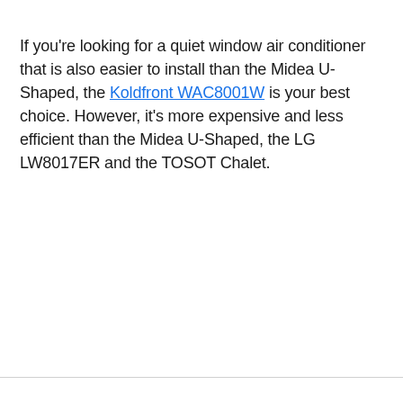If you're looking for a quiet window air conditioner that is also easier to install than the Midea U-Shaped, the Koldfront WAC8001W is your best choice. However, it's more expensive and less efficient than the Midea U-Shaped, the LG LW8017ER and the TOSOT Chalet.